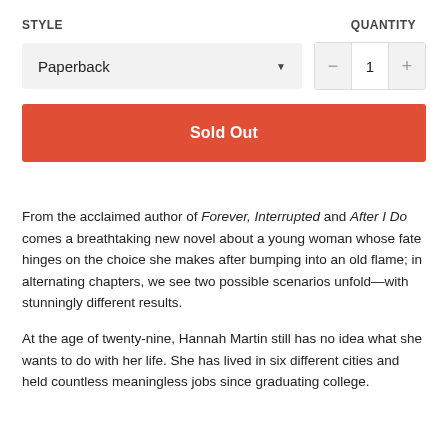STYLE
QUANTITY
Paperback
— 1 +
Sold Out
From the acclaimed author of Forever, Interrupted and After I Do comes a breathtaking new novel about a young woman whose fate hinges on the choice she makes after bumping into an old flame; in alternating chapters, we see two possible scenarios unfold—with stunningly different results.
At the age of twenty-nine, Hannah Martin still has no idea what she wants to do with her life. She has lived in six different cities and held countless meaningless jobs since graduating college.